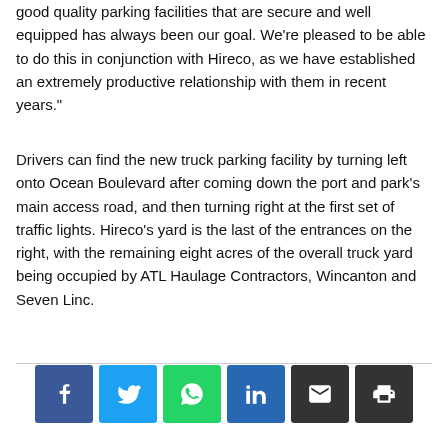good quality parking facilities that are secure and well equipped has always been our goal. We're pleased to be able to do this in conjunction with Hireco, as we have established an extremely productive relationship with them in recent years."
Drivers can find the new truck parking facility by turning left onto Ocean Boulevard after coming down the port and park's main access road, and then turning right at the first set of traffic lights. Hireco's yard is the last of the entrances on the right, with the remaining eight acres of the overall truck yard being occupied by ATL Haulage Contractors, Wincanton and Seven Linc.
[Figure (other): Social sharing buttons: Facebook, Twitter, WhatsApp, LinkedIn, Email, Print]